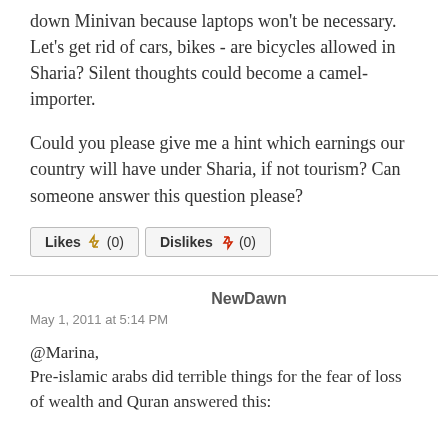...down Minivan because laptops won't be necessary. Let's get rid of cars, bikes - are bicycles allowed in Sharia? Silent thoughts could become a camel-importer.
Could you please give me a hint which earnings our country will have under Sharia, if not tourism? Can someone answer this question please?
Likes (0)  Dislikes (0)
NewDawn
May 1, 2011 at 5:14 PM
@Marina,
Pre-islamic arabs did terrible things for the fear of loss of wealth and Quran answered this: